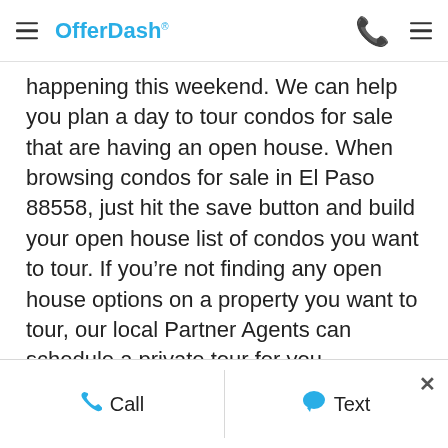OfferDash
happening this weekend. We can help you plan a day to tour condos for sale that are having an open house. When browsing condos for sale in El Paso 88558, just hit the save button and build your open house list of condos you want to tour. If you’re not finding any open house options on a property you want to tour, our local Partner Agents can schedule a private tour for you.
Call   Text